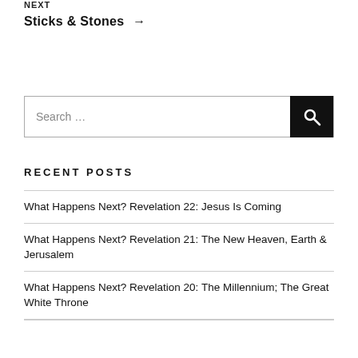NEXT
Sticks & Stones →
[Figure (other): Search box with text input and search button]
RECENT POSTS
What Happens Next? Revelation 22: Jesus Is Coming
What Happens Next? Revelation 21: The New Heaven, Earth & Jerusalem
What Happens Next? Revelation 20: The Millennium; The Great White Throne